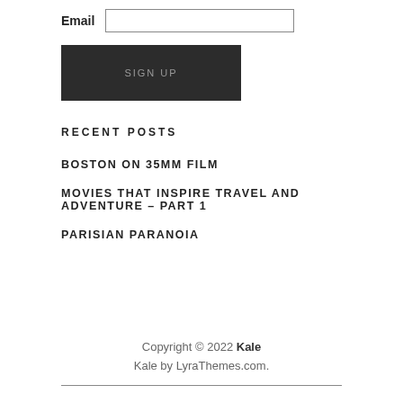Email [input field]
SIGN UP
RECENT POSTS
BOSTON ON 35MM FILM
MOVIES THAT INSPIRE TRAVEL AND ADVENTURE – PART 1
PARISIAN PARANOIA
Copyright © 2022 Kale
Kale by LyraThemes.com.